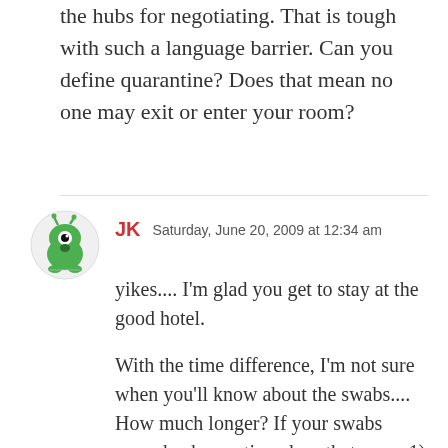the hubs for negotiating. That is tough with such a language barrier. Can you define quarantine? Does that mean no one may exit or enter your room?
JK  Saturday, June 20, 2009 at 12:34 am

yikes.... I'm glad you get to stay at the good hotel.

With the time difference, I'm not sure when you'll know about the swabs.... How much longer? If your swabs come back negative, does that mean 1) you weren't exposed or 2) you might have